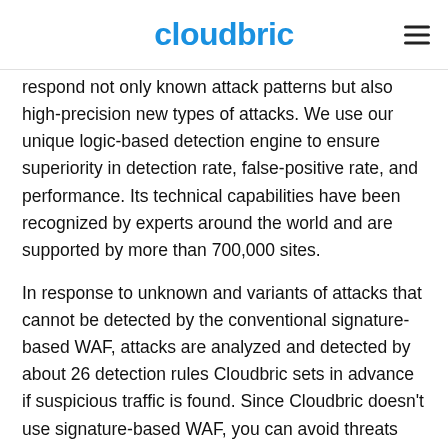cloudbric
respond not only known attack patterns but also high-precision new types of attacks. We use our unique logic-based detection engine to ensure superiority in detection rate, false-positive rate, and performance. Its technical capabilities have been recognized by experts around the world and are supported by more than 700,000 sites.
In response to unknown and variants of attacks that cannot be detected by the conventional signature-based WAF, attacks are analyzed and detected by about 26 detection rules Cloudbric sets in advance if suspicious traffic is found. Since Cloudbric doesn't use signature-based WAF, you can avoid threats occurring in frequent signature